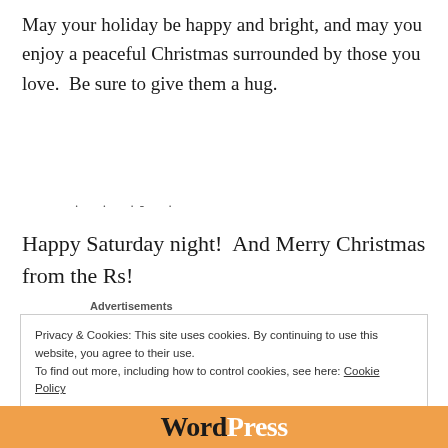May your holiday be happy and bright, and may you enjoy a peaceful Christmas surrounded by those you love.  Be sure to give them a hug.
. . .-  .
Happy Saturday night!  And Merry Christmas from the Rs!
Advertisements
Privacy & Cookies: This site uses cookies. By continuing to use this website, you agree to their use.
To find out more, including how to control cookies, see here: Cookie Policy
Close and accept
[Figure (logo): WordPress logo text in orange and dark colors]